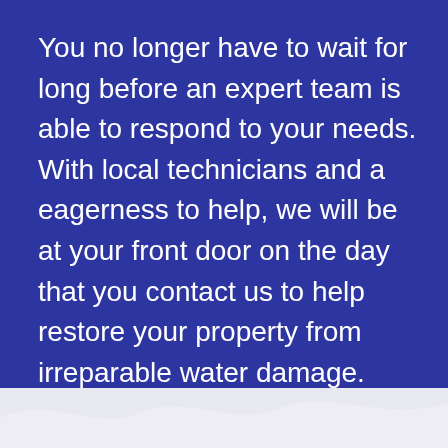You no longer have to wait for long before an expert team is able to respond to your needs. With local technicians and a eagerness to help, we will be at your front door on the day that you contact us to help restore your property from irreparable water damage.
[Figure (illustration): Decorative wave shape at the bottom of the page in light grey/white, suggesting water, on a dark blue background.]